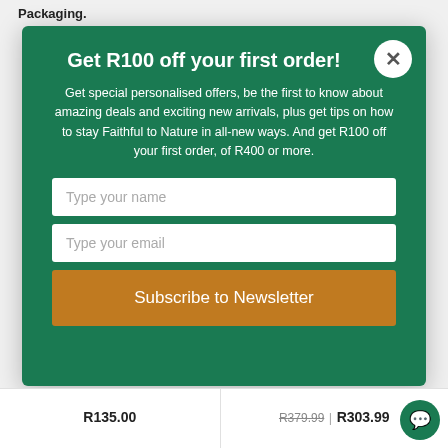Packaging.
Get R100 off your first order!
Get special personalised offers, be the first to know about amazing deals and exciting new arrivals, plus get tips on how to stay Faithful to Nature in all-new ways. And get R100 off your first order, of R400 or more.
Type your name
Type your email
Subscribe to Newsletter
R135.00
R379.99 | R303.99